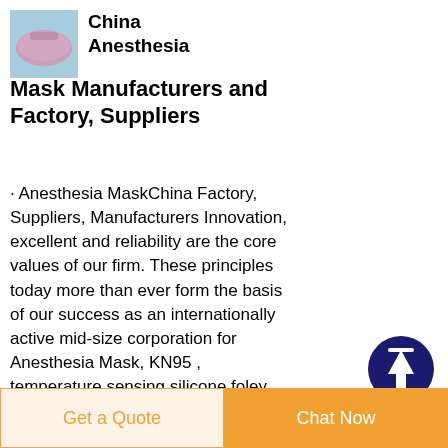[Figure (photo): Small pink/mauve colored medical mask product image on light blue background]
China Anesthesia Mask Manufacturers and Factory, Suppliers
· Anesthesia MaskChina Factory, Suppliers, Manufacturers Innovation, excellent and reliability are the core values of our firm. These principles today more than ever form the basis of our success as an internationally active mid-size corporation for Anesthesia Mask, KN95 , temperature sensing silicone foley catheter , foley catheter
[Figure (illustration): Dark navy blue circular button with white upward arrow icon for scroll to top]
Get a Quote
Chat Now